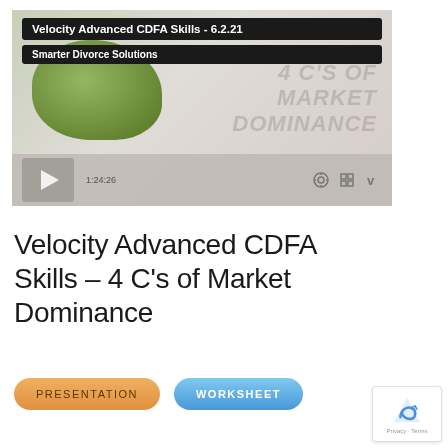[Figure (screenshot): Embedded video player showing a course titled 'Velocity Advanced CDFA Skills - 6.2.21' by Smarter Divorce Solutions. The video thumbnail shows a blurred green plant and text '4 C'S OF MARKET DOMINANCE'. Video controls show 1:24:26 timestamp and Vimeo-style controls.]
Velocity Advanced CDFA Skills – 4 C's of Market Dominance
Presentation
Worksheet